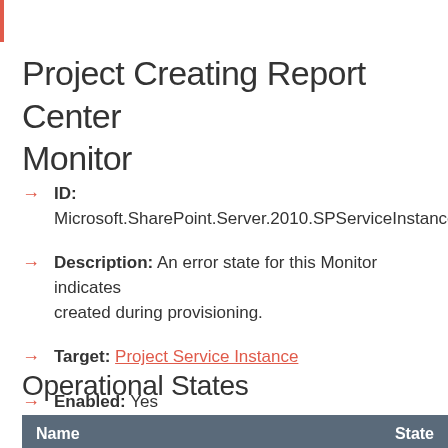Project Creating Report Center Monitor
ID: Microsoft.SharePoint.Server.2010.SPServiceInstance
Description: An error state for this Monitor indicates created during provisioning.
Target: Project Service Instance
Enabled: Yes
Operational States
| Name | State |
| --- | --- |